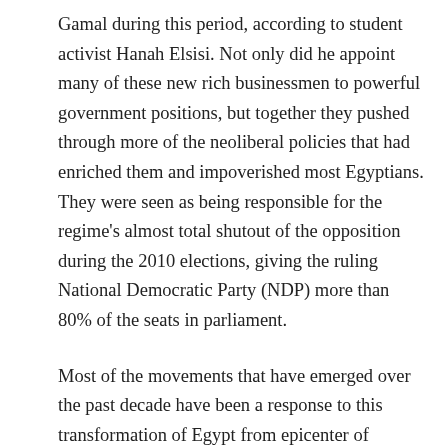Gamal during this period, according to student activist Hanah Elsisi. Not only did he appoint many of these new rich businessmen to powerful government positions, but together they pushed through more of the neoliberal policies that had enriched them and impoverished most Egyptians. They were seen as being responsible for the regime's almost total shutout of the opposition during the 2010 elections, giving the ruling National Democratic Party (NDP) more than 80% of the seats in parliament.
Most of the movements that have emerged over the past decade have been a response to this transformation of Egypt from epicenter of struggles against colonialism and Zionism to defender of US imperialism and Israel, from a state based on the nationalization of industry and benefits for workers and the poor to privatization and the dismantling of the welfare state. It was not just a fight for liberal democracy and against corruption but for real self-determination, including freedom from US